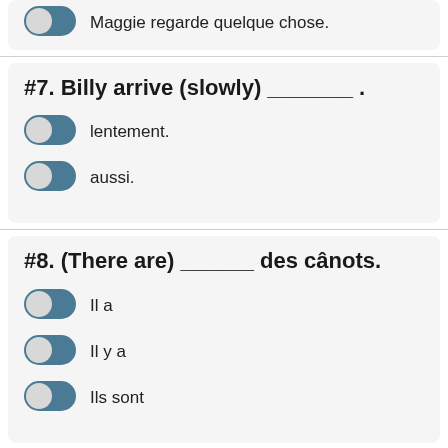Maggie regarde quelque chose.
#7. Billy arrive (slowly) _______ .
lentement.
aussi.
#8. (There are) ______ des cânots.
Il a
Il y a
Ils sont